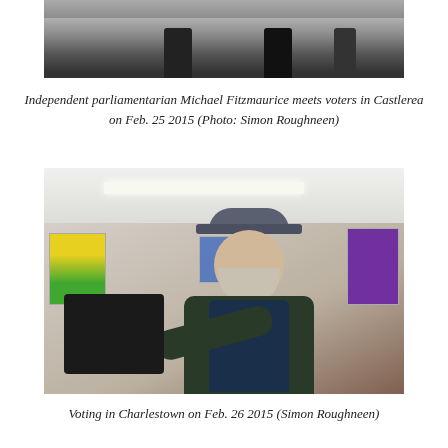[Figure (photo): Black and white photo showing boots/legs of people standing, cropped at top of page]
Independent parliamentarian Michael Fitzmaurice meets voters in Castlerea on Feb. 25 2015 (Photo: Simon Roughneen)
[Figure (photo): Color photograph of a bearded man wearing a flat cap and vest casting a ballot at a voting station in Charlestown]
Voting in Charlestown on Feb. 26 2015 (Simon Roughneen)